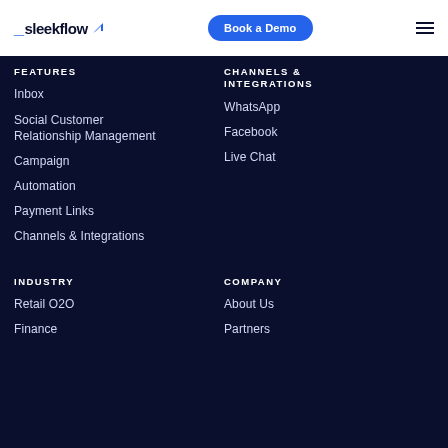[Figure (logo): SleekFlow logo with underscore and blue arrow accent]
Book a Demo
[Figure (other): Hamburger menu icon (three horizontal lines)]
FEATURES
Inbox
Social Customer Relationship Management
Campaign
Automation
Payment Links
Channels & Integrations
CHANNELS & INTEGRATIONS
WhatsApp
Facebook
Live Chat
INDUSTRY
Retail O2O
Finance
COMPANY
About Us
Partners